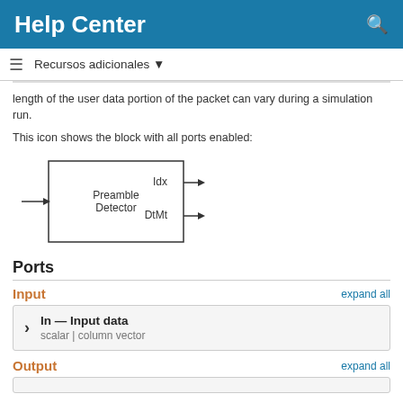Help Center
Recursos adicionales
length of the user data portion of the packet can vary during a simulation run.
This icon shows the block with all ports enabled:
[Figure (schematic): Block diagram of Preamble Detector with input arrow on left, and output ports Idx and DtMt on the right.]
Ports
Input
expand all
In — Input data
scalar | column vector
Output
expand all